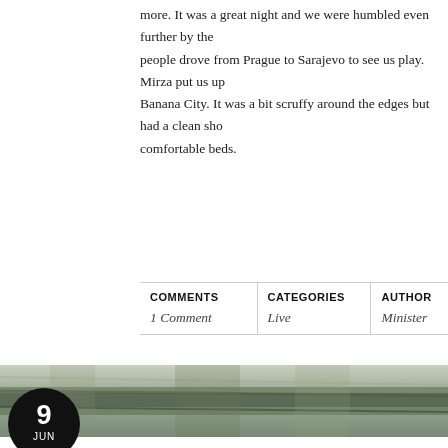more. It was a great night and we were humbled even further by the people drove from Prague to Sarajevo to see us play. Mirza put us up Banana City. It was a bit scruffy around the edges but had a clean sho comfortable beds.
| COMMENTS | CATEGORIES | AUTHOR |
| --- | --- | --- |
| 1 Comment | Live | Minister |
[Figure (photo): Landscape photo band showing muted green and grey tones, appears to be a scenic outdoor view]
Euro Tour: Day 15, Vienna (Cancelled)
The Vienna show was sketchy from the very beginning. The promote something confirmed...